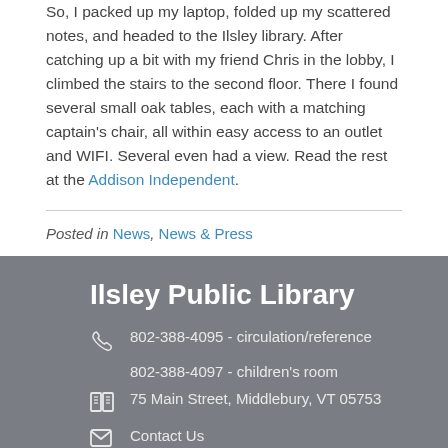So, I packed up my laptop, folded up my scattered notes, and headed to the Ilsley library. After catching up a bit with my friend Chris in the lobby, I climbed the stairs to the second floor. There I found several small oak tables, each with a matching captain's chair, all within easy access to an outlet and WIFI. Several even had a view. Read the rest at the Addison Independent.
Posted in News, News & Press
Ilsley Public Library
802-388-4095 - circulation/reference
802-388-4097 - children's room
75 Main Street, Middlebury, VT 05753
Contact Us